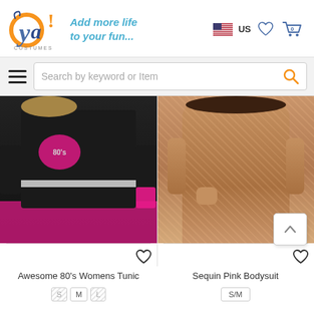[Figure (logo): Oya Costumes logo with colorful text and tagline 'Add more life to your fun...']
[Figure (screenshot): Search bar with hamburger menu icon on the left and search field with magnifying glass icon]
[Figure (photo): Awesome 80s Womens Tunic costume - woman wearing black off-shoulder top with 80s graphic, pink tights, and belt]
[Figure (photo): Sequin Pink Bodysuit - woman wearing a rose gold sequined bodysuit]
Awesome 80's Womens Tunic
Sequin Pink Bodysuit